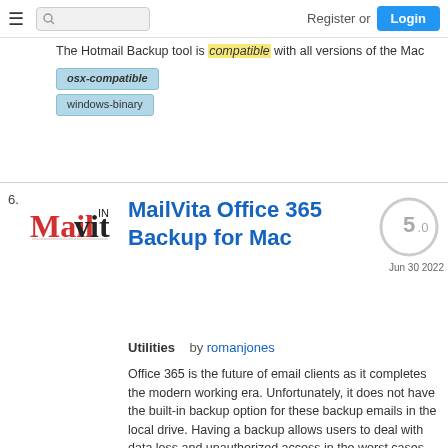☰  [search]  Register or Login
...and the Hotmail Backup tool is compatible with all versions of the Mac
osx-compatible
windows-binary
6. MailVita Office 365 Backup for Mac — 5.0 Jun 30 2022 — Utilities by romanjones — Office 365 is the future of email clients as it completes the modern working era. Unfortunately, it does not have the built-in backup option for these backup emails in the local drive. Having a backup allows users to deal with data loss and unauthorized access in the worst cases without...